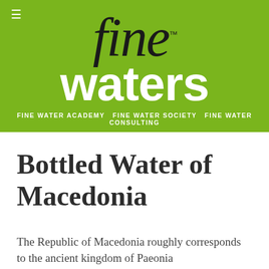[Figure (logo): Fine Waters logo on green background. Cursive black 'fine' with TM mark above bold white 'waters' text on olive green background. Tagline reads: FINE WATER ACADEMY  FINE WATER SOCIETY  FINE WATER CONSULTING]
Bottled Water of Macedonia
The Republic of Macedonia roughly corresponds to the ancient kingdom of Paeonia